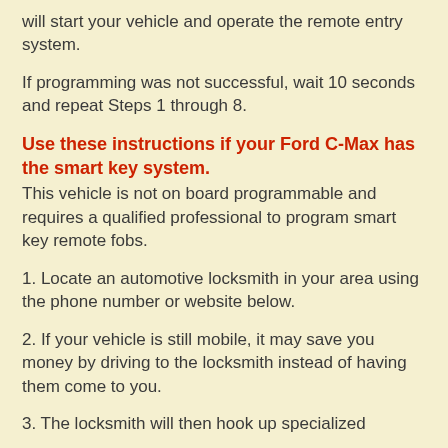will start your vehicle and operate the remote entry system.
If programming was not successful, wait 10 seconds and repeat Steps 1 through 8.
Use these instructions if your Ford C-Max has the smart key system.
This vehicle is not on board programmable and requires a qualified professional to program smart key remote fobs.
1. Locate an automotive locksmith in your area using the phone number or website below.
2. If your vehicle is still mobile, it may save you money by driving to the locksmith instead of having them come to you.
3. The locksmith will then hook up specialized